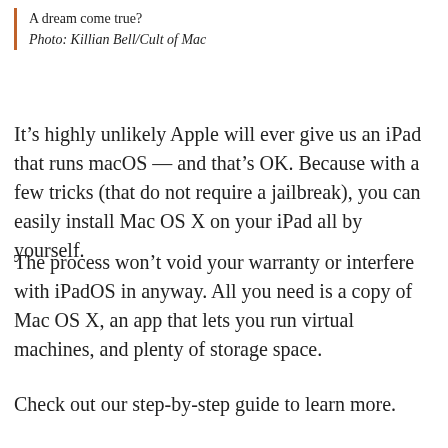A dream come true?
Photo: Killian Bell/Cult of Mac
It’s highly unlikely Apple will ever give us an iPad that runs macOS — and that’s OK. Because with a few tricks (that do not require a jailbreak), you can easily install Mac OS X on your iPad all by yourself.
The process won’t void your warranty or interfere with iPadOS in anyway. All you need is a copy of Mac OS X, an app that lets you run virtual machines, and plenty of storage space.
Check out our step-by-step guide to learn more.